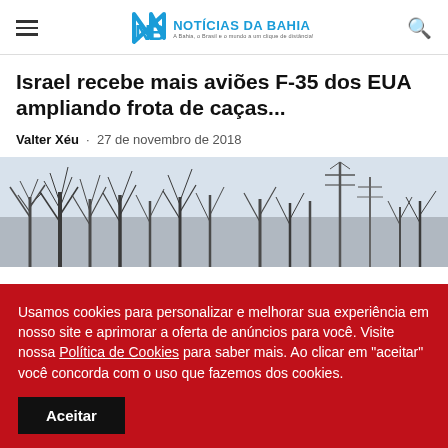NB Notícias da Bahia
Israel recebe mais aviões F-35 dos EUA ampliando frota de caças...
Valter Xéu · 27 de novembro de 2018
[Figure (photo): Black and white photo of bare winter trees and communication towers/antennas against a pale sky]
Usamos cookies para personalizar e melhorar sua experiência em nosso site e aprimorar a oferta de anúncios para você. Visite nossa Política de Cookies para saber mais. Ao clicar em "aceitar" você concorda com o uso que fazemos dos cookies.